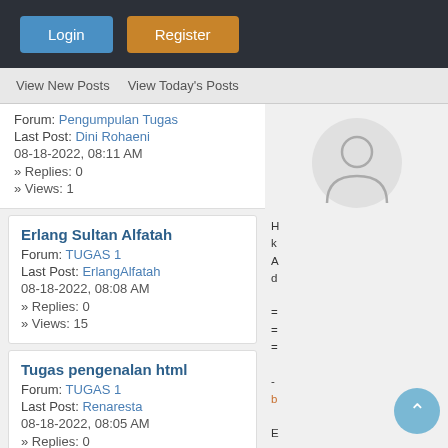Login | Register
View New Posts   View Today's Posts
Forum: Pengumpulan Tugas
Last Post: Dini Rohaeni
08-18-2022, 08:11 AM
» Replies: 0
» Views: 1
Erlang Sultan Alfatah
Forum: TUGAS 1
Last Post: ErlangAlfatah
08-18-2022, 08:08 AM
» Replies: 0
» Views: 15
Tugas pengenalan html
Forum: TUGAS 1
Last Post: Renaresta
08-18-2022, 08:05 AM
» Replies: 0
[Figure (illustration): Default user avatar silhouette in a grey circle]